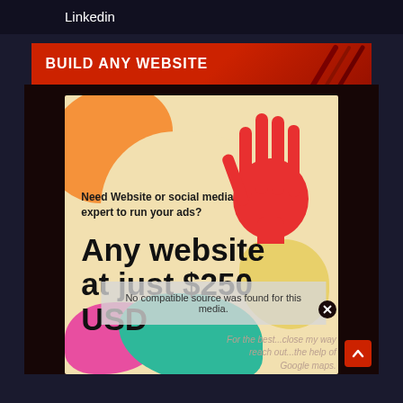Linkedin
BUILD ANY WEBSITE
[Figure (illustration): Colorful advertisement image with blobs of orange, cream, yellow, pink and teal. Features a red hand illustration in the top right. Text reads: 'Need Website or social media expert to run your ads?' and 'Any website at just $250 USD'. An error overlay reads 'No compatible source was found for this media.' Italic text partially visible at bottom reads 'For the best...close my way...reach out...the help of...Google maps.']